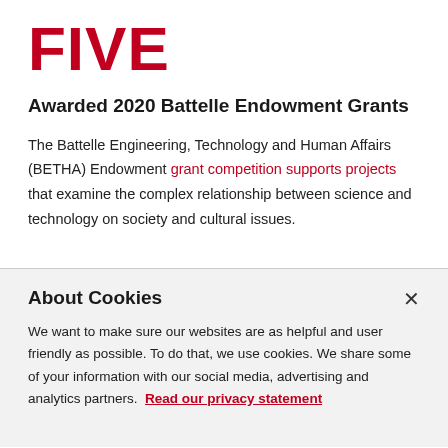FIVE
Awarded 2020 Battelle Endowment Grants
The Battelle Engineering, Technology and Human Affairs (BETHA) Endowment grant competition supports projects that examine the complex relationship between science and technology on society and cultural issues.
About Cookies
We want to make sure our websites are as helpful and user friendly as possible. To do that, we use cookies. We share some of your information with our social media, advertising and analytics partners. Read our privacy statement